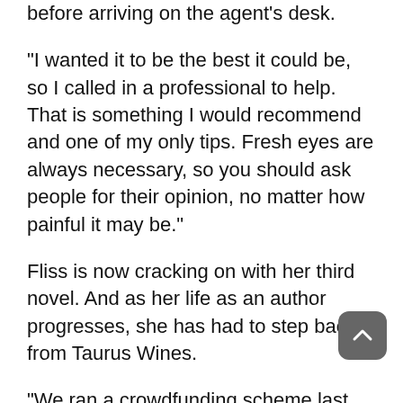before arriving on the agent’s desk.
“I wanted it to be the best it could be, so I called in a professional to help. That is something I would recommend and one of my only tips. Fresh eyes are always necessary, so you should ask people for their opinion, no matter how painful it may be.”
Fliss is now cracking on with her third novel. And as her life as an author progresses, she has had to step back from Taurus Wines.
“We ran a crowdfunding scheme last year and raised nearly £250,000 from our lovely customers, so we have been able to expand. We have a great new shop and a new member of staff, so I can pass on a bit more work. I am so lucky it’s our own business.”
Fliss and Rupert live in Hascombe, near Godalming, and while Fliss used to love the bustle